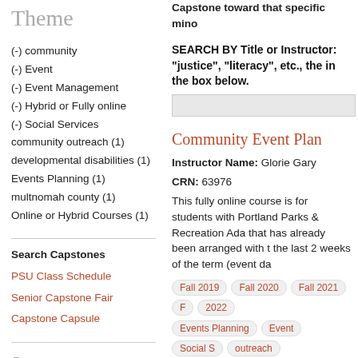Theme
(-) community
(-) Event
(-) Event Management
(-) Hybrid or Fully online
(-) Social Services
community outreach (1)
developmental disabilities (1)
Events Planning (1)
multnomah county (1)
Online or Hybrid Courses (1)
Search Capstones
PSU Class Schedule
Senior Capstone Fair
Capstone Capsule
I am a ...
Student
Capstone toward that specific mino
SEARCH BY Title or Instructor: "justice", "literacy", etc., the in the box below.
Community Event Plan
Instructor Name: Glorie Gary
CRN: 63976
This fully online course is for students with Portland Parks & Recreation Ada that has already been arranged with t the last 2 weeks of the term (event da
Fall 2019 | Fall 2020 | Fall 2021 | F 2022
Events Planning | Event | Social S outreach | Event Management | Hy